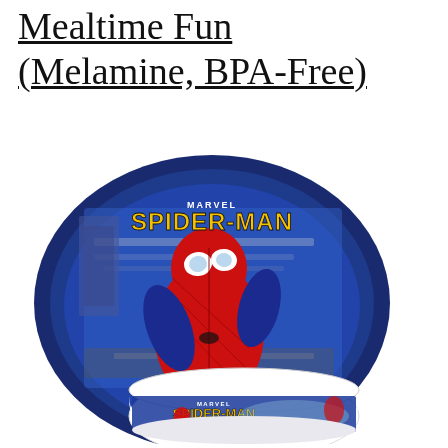Mealtime Fun (Melamine, BPA-Free)
[Figure (photo): Product photo showing a Marvel Spider-Man melamine plate and bowl set. The plate is large and round with a dark navy blue rim and features Spider-Man crawling across a city rooftop with the Marvel Spider-Man logo in yellow at the top. In front of the plate is a smaller white melamine bowl also decorated with the Spider-Man motif and logo.]